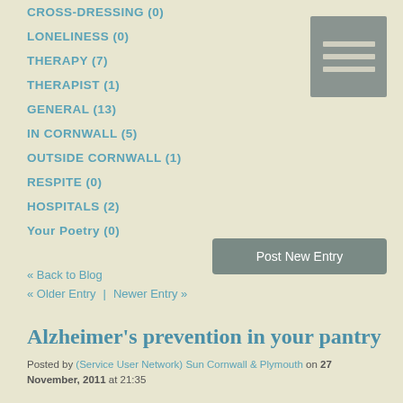CROSS-DRESSING (0)
LONELINESS (0)
THERAPY (7)
THERAPIST (1)
GENERAL (13)
IN CORNWALL (5)
OUTSIDE CORNWALL (1)
RESPITE (0)
HOSPITALS (2)
Your Poetry (0)
[Figure (other): Menu/hamburger icon button with three horizontal lines on grey-green background]
Post New Entry
« Back to Blog
« Older Entry  |  Newer Entry »
Alzheimer's prevention in your pantry
Posted by (Service User Network) Sun Cornwall & Plymouth on 27 November, 2011 at 21:35